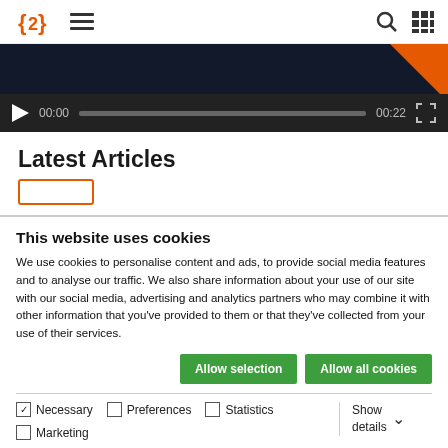{2} ≡ [search] [grid]
[Figure (screenshot): Video player with dark background, orange corner accent, play button, progress bar showing 00:00 / 00:22, and fullscreen button]
Latest Articles
This website uses cookies
We use cookies to personalise content and ads, to provide social media features and to analyse our traffic. We also share information about your use of our site with our social media, advertising and analytics partners who may combine it with other information that you've provided to them or that they've collected from your use of their services.
Allow selection | Allow all cookies
✓ Necessary  □ Preferences  □ Statistics  □ Marketing  Show details ∨